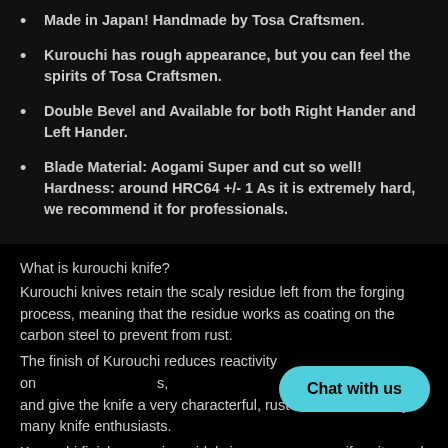Made in Japan! Handmade by Tosa Craftsmen.
Kurouchi has rough appearance, but you can feel the spirits of Tosa Craftsmen.
Double Bevel and Available for both Right Hander and Left Hander.
Blade Material: Aogami Super and cut so well! Hardness: around HRC64 +/- 1 As it is extremely hard, we recommend it for professionals.
What is kurouchi knife?
Kurouchi knives retain the scaly residue left from the forging process, meaning that the residue works as coating on the carbon steel to prevent from rust.
The finish of Kurouchi reduces reactivity on the carbon steel blades, and give the knife a very characterful, rustic appearance that is loved by many knife enthusiasts.
Kurouchi finishes varying widely in appearance, uniformity, and